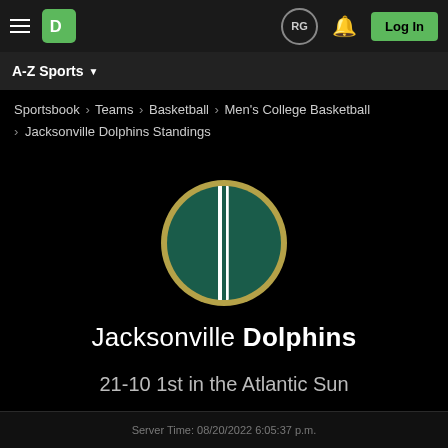DraftKings navigation bar with hamburger menu, DK logo, RG badge, bell icon, and Log In button
A-Z Sports ▾
Sportsbook › Teams › Basketball › Men's College Basketball › Jacksonville Dolphins Standings
[Figure (logo): Jacksonville Dolphins circular logo — dark green circle with vertical stripe detail, gold border]
Jacksonville Dolphins
21-10 1st in the Atlantic Sun
Server Time: 08/20/2022 6:05:37 p.m.